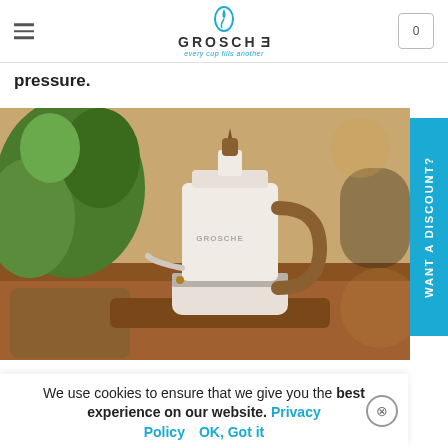purchased in a cafe here, often made in a high pressure machine that runs at around 15 bars of pressure, stovetop espresso makers work with low pressure.
GROSCHE — every cup fills another
pressure.
[Figure (photo): A white GROSCHE moka pot with wooden handle and knob, sitting on a wooden tray next to a green plant, photographed in a warm indoor setting.]
WANT A DISCOUNT?
We use cookies to ensure that we give you the best experience on our website. Privacy Policy   OK, Got it
How to care for your Moka pot